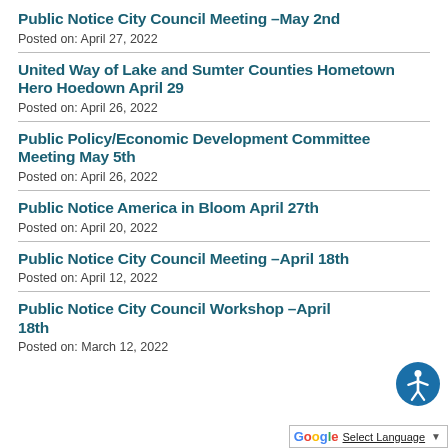Public Notice City Council Meeting –May 2nd
Posted on: April 27, 2022
United Way of Lake and Sumter Counties Hometown Hero Hoedown April 29
Posted on: April 26, 2022
Public Policy/Economic Development Committee Meeting May 5th
Posted on: April 26, 2022
Public Notice America in Bloom April 27th
Posted on: April 20, 2022
Public Notice City Council Meeting –April 18th
Posted on: April 12, 2022
Public Notice City Council Workshop –April 18th
Posted on: March 12, 2022